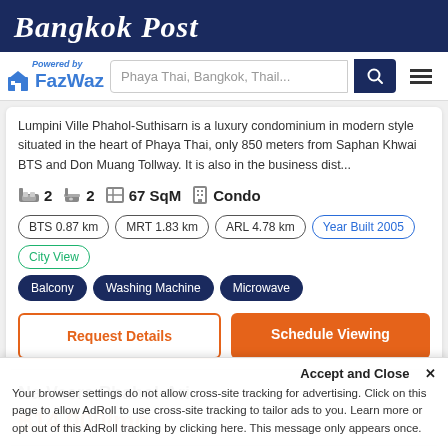Bangkok Post
[Figure (logo): FazWaz logo with house icon and 'Powered by FazWaz' text in blue]
Phaya Thai, Bangkok, Thail...
Lumpini Ville Phahol-Suthisarn is a luxury condominium in modern style situated in the heart of Phaya Thai, only 850 meters from Saphan Khwai BTS and Don Muang Tollway. It is also in the business dist...
2  2  67 SqM  Condo
BTS 0.87 km  MRT 1.83 km  ARL 4.78 km  Year Built 2005  City View  Balcony  Washing Machine  Microwave
Request Details
Schedule Viewing
Na Veera Phahol-Ari
฿14,000/mo
Accept and Close ✕
Your browser settings do not allow cross-site tracking for advertising. Click on this page to allow AdRoll to use cross-site tracking to tailor ads to you. Learn more or opt out of this AdRoll tracking by clicking here. This message only appears once.